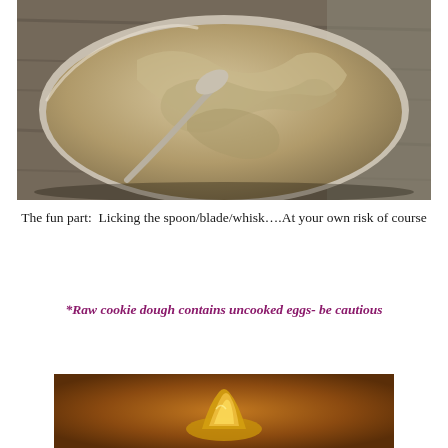[Figure (photo): Overhead view of cookie dough being mixed in a glass bowl with a spoon, on a wooden surface]
The fun part:  Licking the spoon/blade/whisk….At your own risk of course
*Raw cookie dough contains uncooked eggs- be cautious
[Figure (photo): Close-up photo of a golden honey dipper or cookie on a warm brown background]